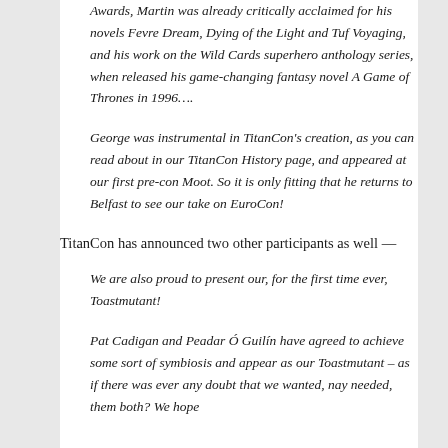Awards, Martin was already critically acclaimed for his novels Fevre Dream, Dying of the Light and Tuf Voyaging, and his work on the Wild Cards superhero anthology series, when released his game-changing fantasy novel A Game of Thrones in 1996….
George was instrumental in TitanCon's creation, as you can read about in our TitanCon History page, and appeared at our first pre-con Moot. So it is only fitting that he returns to Belfast to see our take on EuroCon!
TitanCon has announced two other participants as well —
We are also proud to present our, for the first time ever, Toastmutant!
Pat Cadigan and Peadar Ó Guilín have agreed to achieve some sort of symbiosis and appear as our Toastmutant – as if there was ever any doubt that we wanted, nay needed, them both? We hope